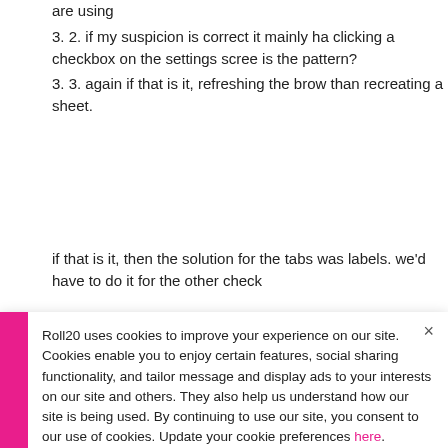are using
3. 2. if my suspicion is correct it mainly ha clicking a checkbox on the settings scree is the pattern?
3. 3. again if that is it, refreshing the brow than recreating a sheet.
if that is it, then the solution for the tabs was labels. we'd have to do it for the other chek
Roll20 uses cookies to improve your experience on our site. Cookies enable you to enjoy certain features, social sharing functionality, and tailor message and display ads to your interests on our site and others. They also help us understand how our site is being used. By continuing to use our site, you consent to our use of cookies. Update your cookie preferences here.
next person (me the GM) look at it and it still is
were of a character that had no other access bu